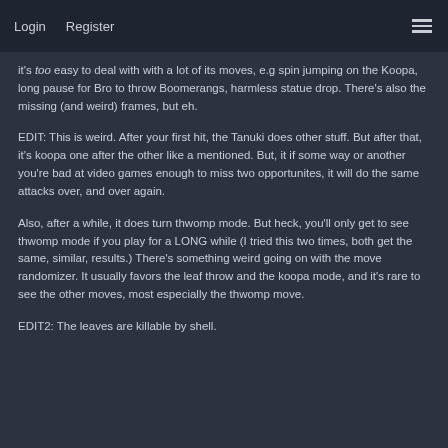Login   Register
it's too easy to deal with with a lot of its moves, e.g spin jumping on the Koopa, long pause for Bro to throw Boomerangs, harmless statue drop. There's also the missing (and weird) frames, but eh.
EDIT: This is weird. After your first hit, the Tanuki does other stuff. But after that, it's koopa one after the other like a mentioned. But, it if some way or another you're bad at video games enough to miss two opportunites, it will do the same attacks over, and over again.
Also, after a while, it does turn thwomp mode. But heck, you'll only get to see thwomp mode if you play for a LONG while (I tried this two times, both get the same, similar, results.) There's something weird going on with the move randomizer. It usually favors the leaf throw and the koopa mode, and it's rare to see the other moves, most especially the thwomp move.
EDIT2: The leaves are killable by shell.